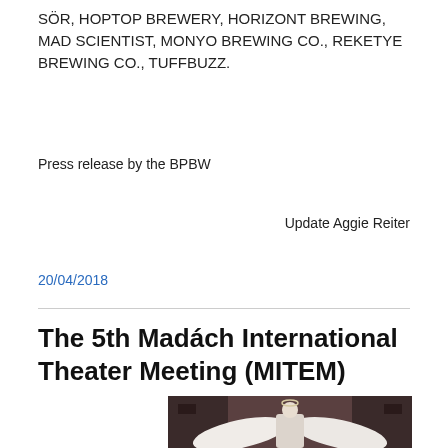SÖR, HOPTOP BREWERY, HORIZONT BREWING, MAD SCIENTIST, MONYO BREWING CO., REKETYE BREWING CO., TUFFBUZZ.
Press release by the BPBW
Update Aggie Reiter
20/04/2018
The 5th Madách International Theater Meeting (MITEM)
[Figure (photo): A performer dressed in white with large white angel wings spread wide, on a dark stage background.]